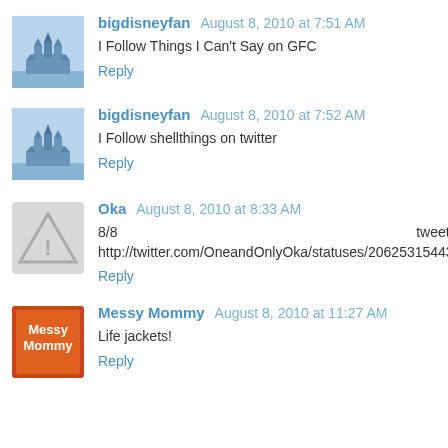bigdisneyfan August 8, 2010 at 7:51 AM
I Follow Things I Can't Say on GFC
Reply
bigdisneyfan August 8, 2010 at 7:52 AM
I Follow shellthings on twitter
Reply
Oka August 8, 2010 at 8:33 AM
8/8 tweet http://twitter.com/OneandOnlyOka/statuses/20625315443
Reply
Messy Mommy August 8, 2010 at 11:27 AM
Life jackets!
Reply